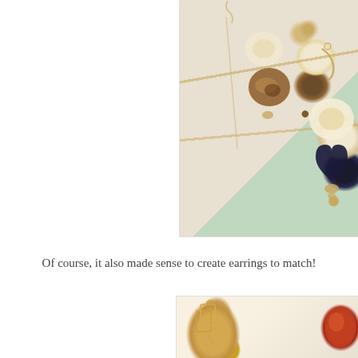[Figure (photo): Photo showing earring components and assembled earrings with gold hooks, beige flower-shaped beads, dark heart-shaped beads, and gold spacer beads, on a white background]
Of course, it also made sense to create earrings to match!
[Figure (photo): Photo showing earring components including gold chain/connector pieces on the left and a reddish-orange bead element on the right, partially cropped]